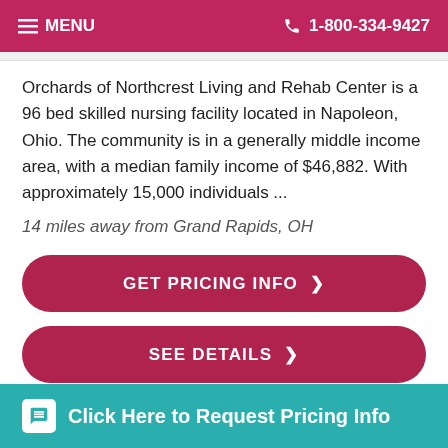MENU  1-800-334-9427
Orchards of Northcrest Living and Rehab Center is a 96 bed skilled nursing facility located in Napoleon, Ohio. The community is in a generally middle income area, with a median family income of $46,882. With approximately 15,000 individuals ...
14 miles away from Grand Rapids, OH
GET PRICING INFO >
SEE DETAILS >
Click Here to Request Pricing Info